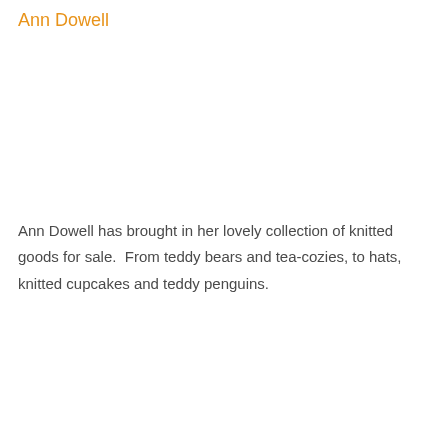Ann Dowell
Ann Dowell has brought in her lovely collection of knitted goods for sale.  From teddy bears and tea-cozies, to hats, knitted cupcakes and teddy penguins.